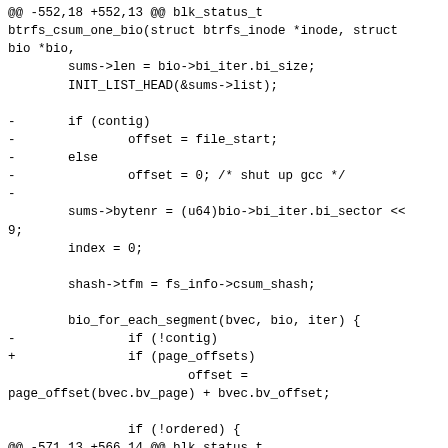@@ -552,18 +552,13 @@ blk_status_t btrfs_csum_one_bio(struct btrfs_inode *inode, struct bio *bio,
        sums->len = bio->bi_iter.bi_size;
        INIT_LIST_HEAD(&sums->list);

-       if (contig)
-               offset = file_start;
-       else
-               offset = 0; /* shut up gcc */
-
        sums->bytenr = (u64)bio->bi_iter.bi_sector <<
9;
        index = 0;

        shash->tfm = fs_info->csum_shash;

        bio_for_each_segment(bvec, bio, iter) {
-               if (!contig)
+               if (page_offsets)
                        offset =
page_offset(bvec.bv_page) + bvec.bv_offset;

                if (!ordered) {
@@ -571,13 +566,14 @@ blk_status_t btrfs_csum_one_bio(struct btrfs_inode *inode, struct bio *bio,
                        BUG_ON(!ordered); /* Logic
error */